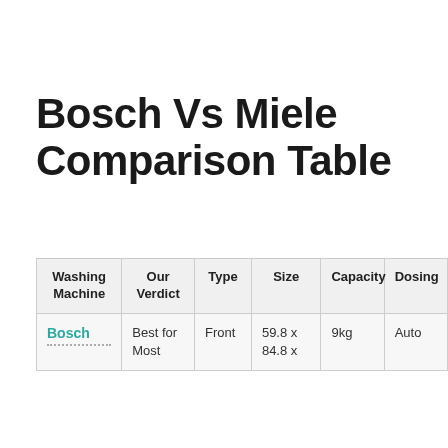Bosch Vs Miele Comparison Table
| Washing Machine | Our Verdict | Type | Size | Capacity | Dosing |
| --- | --- | --- | --- | --- | --- |
| Bosch | Best for Most | Front | 59.8 x
84.8 x | 9kg | Auto |